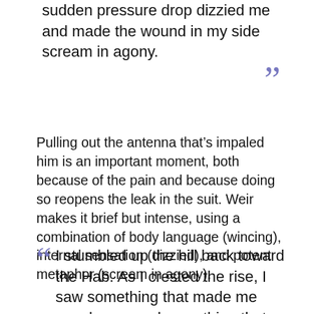sudden pressure drop dizzied me and made the wound in my side scream in agony.
Pulling out the antenna that’s impaled him is an important moment, both because of the pain and because doing so reopens the leak in the suit. Weir makes it brief but intense, using a combination of body language (wincing), internal sensation (dizzied), and potent metaphor (scream in agony).
I stumbled up the hill back toward the Hab. As I crested the rise, I saw something that made me very happy and something that made me very sad.